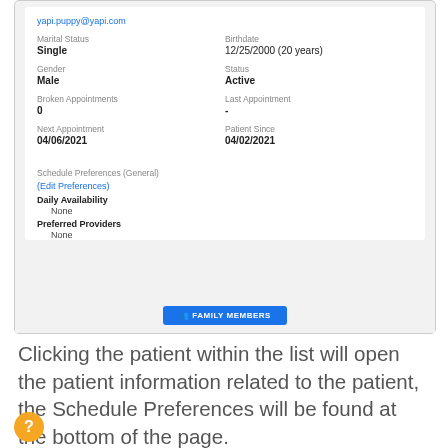[Figure (screenshot): Patient information card screenshot showing marital status, birthdate, gender, status, broken appointments, last appointment, next appointment, patient since fields, and schedule preferences section with edit link, daily availability and preferred providers. A blue Family Members button is at the bottom.]
Clicking the patient within the list will open the patient information related to the patient, the Schedule Preferences will be found at the bottom of the page.